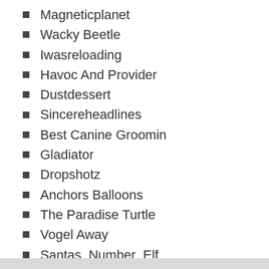Magneticplanet
Wacky Beetle
Iwasreloading
Havoc And Provider
Dustdessert
Sincereheadlines
Best Canine Groomin
Gladiator
Dropshotz
Anchors Balloons
The Paradise Turtle
Vogel Away
Santas_Number_Elf